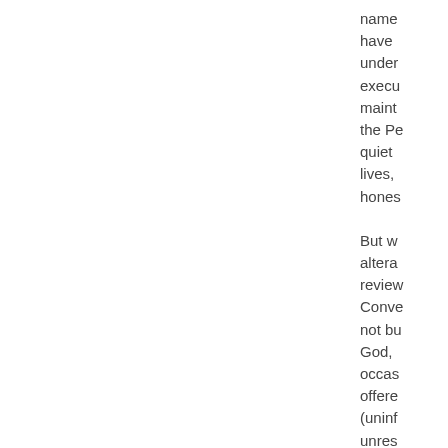name have under execu maint the Pe quiet lives, hones But w altera review Conve not bu God, occase offere (uninf unres worldl whats furthe